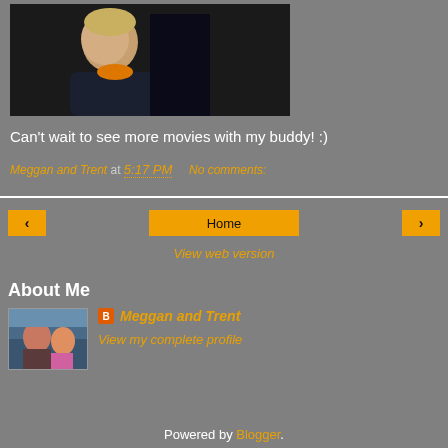[Figure (photo): Photo of a young child in profile view, wearing a dark jacket with orange collar, looking upward, against a dark background.]
Can't wait to see more movies with my buddy! :)
Meggan and Trent at 5:17 PM   No comments:
[Figure (infographic): Navigation bar with left arrow button, Home button, and right arrow button, plus View web version link below.]
About Me
[Figure (photo): Profile photo of a couple outdoors near water.]
Meggan and Trent
View my complete profile
Powered by Blogger.